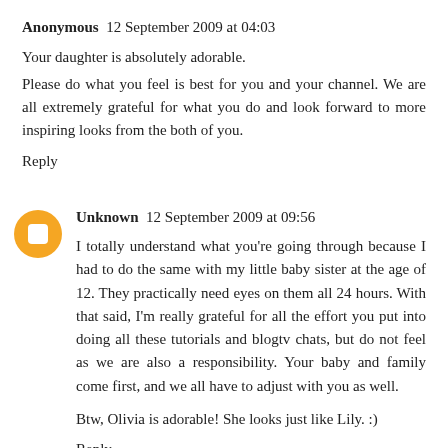Anonymous  12 September 2009 at 04:03
Your daughter is absolutely adorable.
Please do what you feel is best for you and your channel. We are all extremely grateful for what you do and look forward to more inspiring looks from the both of you.
Reply
Unknown  12 September 2009 at 09:56
I totally understand what you're going through because I had to do the same with my little baby sister at the age of 12. They practically need eyes on them all 24 hours. With that said, I'm really grateful for all the effort you put into doing all these tutorials and blogtv chats, but do not feel as we are also a responsibility. Your baby and family come first, and we all have to adjust with you as well.
Btw, Olivia is adorable! She looks just like Lily. :)
Reply